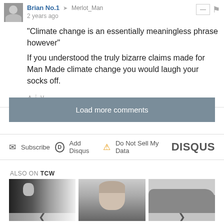Brian No.1 → Merlot_Man
2 years ago
"Climate change is an essentially meaningless phrase however"
If you understood the truly bizarre claims made for Man Made climate change you would laugh your socks off.
Load more comments
Subscribe   Add Disqus   Do Not Sell My Data   DISQUS
ALSO ON TCW
[Figure (photo): Three thumbnail images side by side below 'Also on TCW' section - black and white photos]
△ ∨